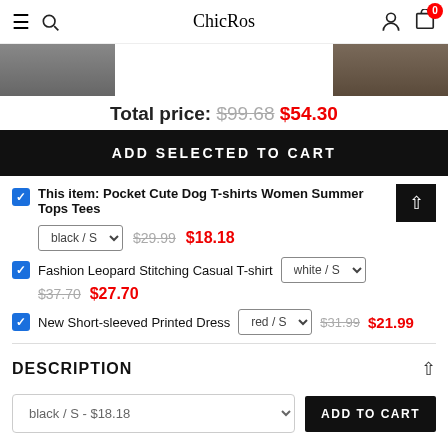ChicRos
[Figure (photo): Two product images partially visible at top]
Total price: $99.68 $54.30
ADD SELECTED TO CART
This item: Pocket Cute Dog T-shirts Women Summer Tops Tees black / S $29.99 $18.18
Fashion Leopard Stitching Casual T-shirt white / S $37.70 $27.70
New Short-sleeved Printed Dress red / S $31.99 $21.99
DESCRIPTION
black / S - $18.18  ADD TO CART